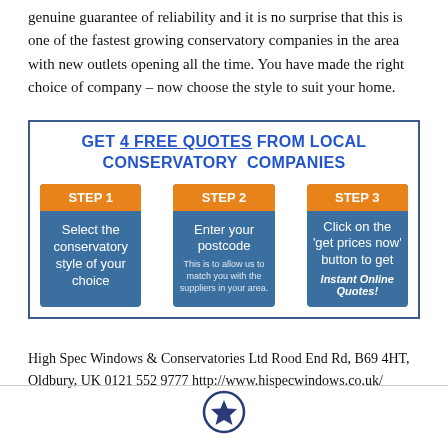genuine guarantee of reliability and it is no surprise that this is one of the fastest growing conservatory companies in the area with new outlets opening all the time. You have made the right choice of company – now choose the style to suit your home.
[Figure (infographic): GET 4 FREE QUOTES FROM LOCAL CONSERVATORY COMPANIES. Three steps: Step 1 - Select the conservatory style of your choice, Step 2 - Enter your postcode (This is to allow us to match you with the suppliers in your area.), Step 3 - Click on the 'get prices now' button to get Instant Online Quotes!]
High Spec Windows & Conservatories Ltd Rood End Rd, B69 4HT, Oldbury, UK 0121 552 9777 http://www.hispecwindows.co.uk/